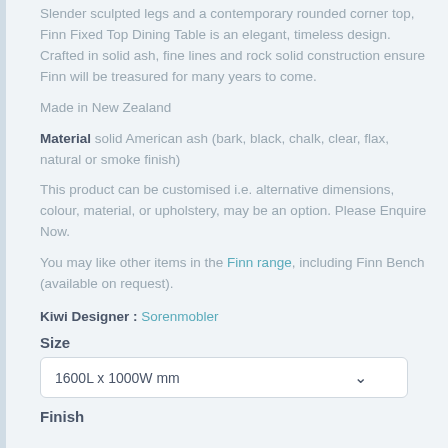Slender sculpted legs and a contemporary rounded corner top, Finn Fixed Top Dining Table is an elegant, timeless design. Crafted in solid ash, fine lines and rock solid construction ensure Finn will be treasured for many years to come.
Made in New Zealand
Material solid American ash (bark, black, chalk, clear, flax, natural or smoke finish)
This product can be customised i.e. alternative dimensions, colour, material, or upholstery, may be an option. Please Enquire Now.
You may like other items in the Finn range, including Finn Bench (available on request).
Kiwi Designer : Sorenmobler
Size
1600L x 1000W mm
Finish